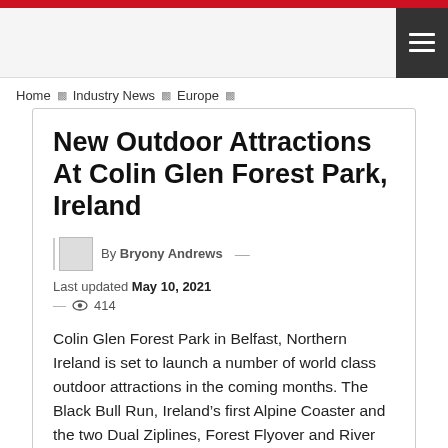New Outdoor Attractions At Colin Glen Forest Park, Ireland
By Bryony Andrews — Last updated May 10, 2021
414
Colin Glen Forest Park in Belfast, Northern Ireland is set to launch a number of world class outdoor attractions in the coming months. The Black Bull Run, Ireland's first Alpine Coaster and the two Dual Ziplines, Forest Flyover and River Rapid, Ireland's longest Zipline